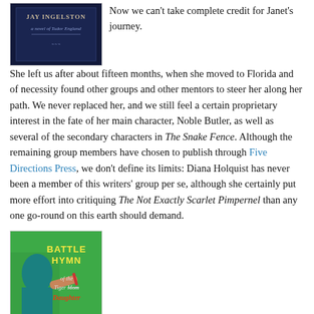[Figure (illustration): Book cover for a novel set in Tudor England, dark blue background with decorative text and subtitle 'a novel of Tudor England']
Now we can't take complete credit for Janet's journey. She left us after about fifteen months, when she moved to Florida and of necessity found other groups and other mentors to steer her along her path. We never replaced her, and we still feel a certain proprietary interest in the fate of her main character, Noble Butler, as well as several of the secondary characters in The Snake Fence. Although the remaining group members have chosen to publish through Five Directions Press, we don't define its limits: Diana Holquist has never been a member of this writers' group per se, although she certainly put more effort into critiquing The Not Exactly Scarlet Pimpernel than any one go-round on this earth should demand.
[Figure (illustration): Book cover for 'Battle Hymn of the Tiger Mother Daughter' showing a woman in a teal top holding a pen, against a green background]